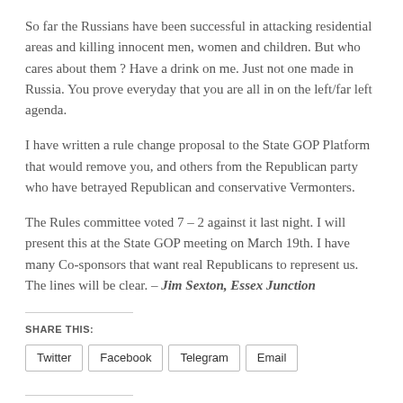So far the Russians have been successful in attacking residential areas and killing innocent men, women and children. But who cares about them ? Have a drink on me. Just not one made in Russia. You prove everyday that you are all in on the left/far left agenda.
I have written a rule change proposal to the State GOP Platform that would remove you, and others from the Republican party who have betrayed Republican and conservative Vermonters.
The Rules committee voted 7 – 2 against it last night. I will present this at the State GOP meeting on March 19th. I have many Co-sponsors that want real Republicans to represent us. The lines will be clear. – Jim Sexton, Essex Junction
SHARE THIS:
Twitter
Facebook
Telegram
Email